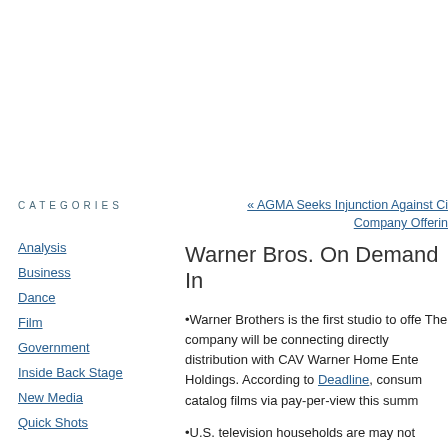CATEGORIES
Analysis
Business
Dance
Film
Government
Inside Back Stage
New Media
Quick Shots
« AGMA Seeks Injunction Against Ci
Company Offerin
Warner Bros. On Demand In
•Warner Brothers is the first studio to offe
The company will be connecting directly
distribution with CAV Warner Home Ente
Holdings. According to Deadline, consum
catalog films via pay-per-view this summ
•U.S. television households are may not
mean they aren't watching programming